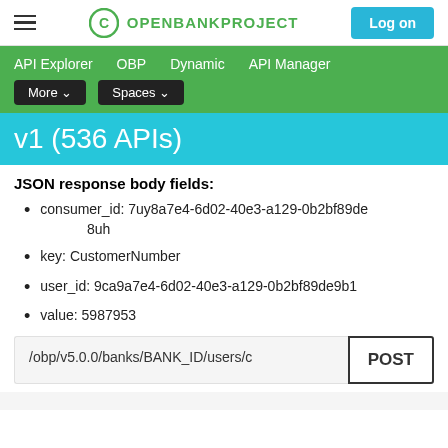OPENBANKPROJECT  Log on
API Explorer  OBP  Dynamic  API Manager  More  Spaces
v1 (536 APIs)
JSON response body fields:
consumer_id: 7uy8a7e4-6d02-40e3-a129-0b2bf89de8uh
key: CustomerNumber
user_id: 9ca9a7e4-6d02-40e3-a129-0b2bf89de9b1
value: 5987953
/obp/v5.0.0/banks/BANK_ID/users/c   POST